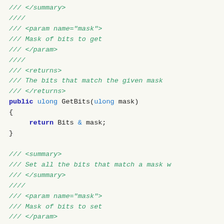/// </summary>
///
/// <param name="mask">
/// Mask of bits to get
/// </param>
///
/// <returns>
/// The bits that match the given mask
/// </returns>
public ulong GetBits(ulong mask)
{
    return Bits & mask;
}

/// <summary>
/// Set all the bits that match a mask w
/// </summary>
///
/// <param name="mask">
/// Mask of bits to set
/// </param>
public void SetBits(ulong mask)
{